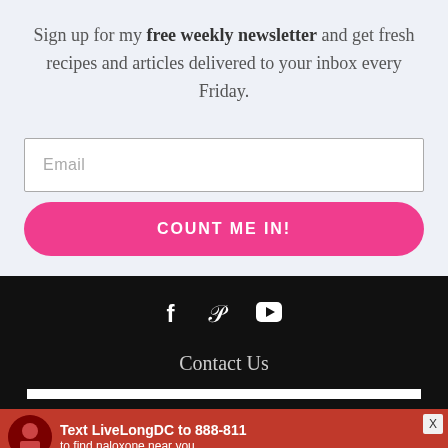Sign up for my free weekly newsletter and get fresh recipes and articles delivered to your inbox every Friday.
[Figure (other): Email input field with placeholder text 'Email']
[Figure (other): Pink rounded button labeled 'COUNT ME IN!']
[Figure (other): Social media icons: Facebook, Pinterest, YouTube on dark background]
Contact Us
[Figure (other): Advertisement banner: Text 'Text LiveLongDC to 888-811 to find naloxone near you.']